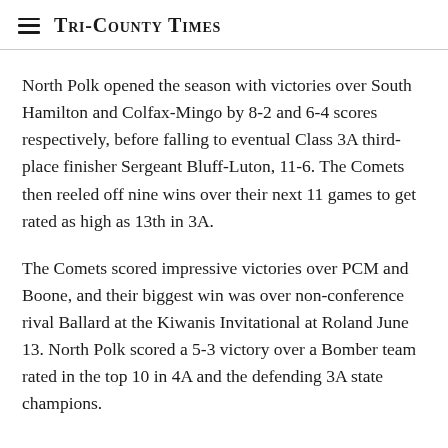Tri-County Times
North Polk opened the season with victories over South Hamilton and Colfax-Mingo by 8-2 and 6-4 scores respectively, before falling to eventual Class 3A third-place finisher Sergeant Bluff-Luton, 11-6. The Comets then reeled off nine wins over their next 11 games to get rated as high as 13th in 3A.
The Comets scored impressive victories over PCM and Boone, and their biggest win was over non-conference rival Ballard at the Kiwanis Invitational at Roland June 13. North Polk scored a 5-3 victory over a Bomber team rated in the top 10 in 4A and the defending 3A state champions.